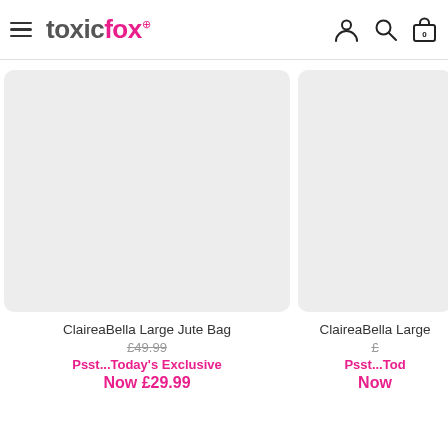toxicfox
[Figure (photo): Product image placeholder: ClaireaBella Large Jute Bag — grey/light background rounded rectangle]
ClaireaBella Large Jute Bag
£49.99 (strikethrough original price)
Psst...Today's Exclusive
Now £29.99
[Figure (photo): Second product image placeholder: ClaireaBella Large — partially visible, grey background rounded rectangle]
ClaireaBella Large
£ (strikethrough original price, partially visible)
Psst...Tod
Now